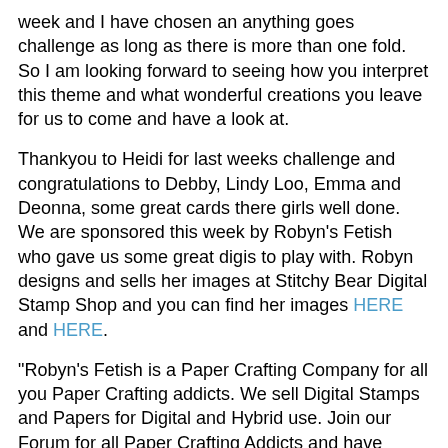week and I have chosen an anything goes challenge as long as there is more than one fold. So I am looking forward to seeing how you interpret this theme and what wonderful creations you leave for us to come and have a look at.
Thankyou to Heidi for last weeks challenge and congratulations to Debby, Lindy Loo, Emma and Deonna, some great cards there girls well done.
We are sponsored this week by Robyn's Fetish who gave us some great digis to play with. Robyn designs and sells her images at Stitchy Bear Digital Stamp Shop and you can find her images HERE and HERE.
"Robyn's Fetish is a Paper Crafting Company for all you Paper Crafting addicts. We sell Digital Stamps and Papers for Digital and Hybrid use. Join our Forum for all Paper Crafting Addicts and have some fun doing challenges. Win some prizes and make some friends!! Robyn's Fetish is a Division of I Did it Creations."
The prize for the lucky winner this week is 3 Digi Images from The Robyns Fetish Store.